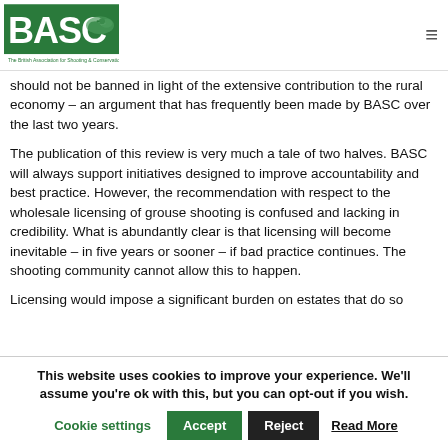BASC – The British Association for Shooting & Conservation
should not be banned in light of the extensive contribution to the rural economy – an argument that has frequently been made by BASC over the last two years.
The publication of this review is very much a tale of two halves. BASC will always support initiatives designed to improve accountability and best practice. However, the recommendation with respect to the wholesale licensing of grouse shooting is confused and lacking in credibility. What is abundantly clear is that licensing will become inevitable – in five years or sooner – if bad practice continues. The shooting community cannot allow this to happen.
Licensing would impose a significant burden on estates that do so
This website uses cookies to improve your experience. We'll assume you're ok with this, but you can opt-out if you wish.
Cookie settings  Accept  Reject  Read More